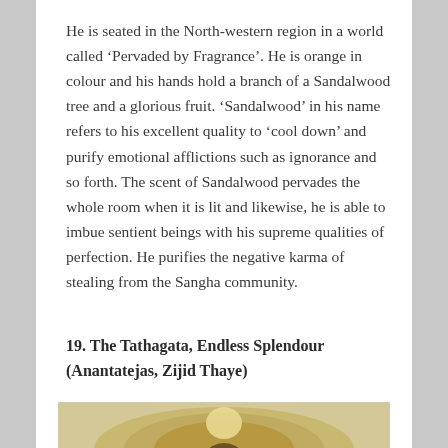He is seated in the North-western region in a world called ‘Pervaded by Fragrance’. He is orange in colour and his hands hold a branch of a Sandalwood tree and a glorious fruit. ‘Sandalwood’ in his name refers to his excellent quality to ‘cool down’ and purify emotional afflictions such as ignorance and so forth. The scent of Sandalwood pervades the whole room when it is lit and likewise, he is able to imbue sentient beings with his supreme qualities of perfection. He purifies the negative karma of stealing from the Sangha community.
19. The Tathagata, Endless Splendour (Anantatejas, Zijid Thaye)
[Figure (photo): Partial image of a golden Buddhist statue or medallion, showing the top portion of a figure with an ornate circular halo or frame, gold in color, against a light background.]